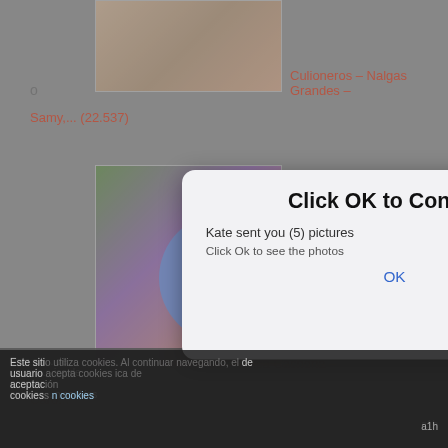[Figure (screenshot): Background webpage showing adult content listing with red link text 'Culioneros – Nalgas Grandes – Samy,... (22.537)' and thumbnail images, overlaid with a modal dialog]
Click OK to Continue
Kate sent you (5) pictures
Click Ok to see the photos
OK
Ok
Este sitio utiliza cookies. Al continuar navegando, el usuario acepta cookies
a1h